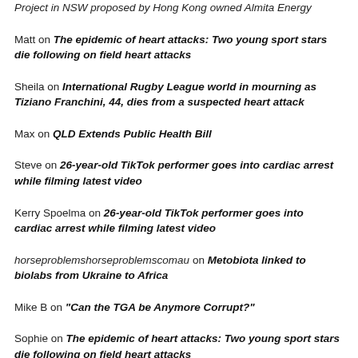Project in NSW proposed by Hong Kong owned Almita Energy
Matt on The epidemic of heart attacks: Two young sport stars die following on field heart attacks
Sheila on International Rugby League world in mourning as Tiziano Franchini, 44, dies from a suspected heart attack
Max on QLD Extends Public Health Bill
Steve on 26-year-old TikTok performer goes into cardiac arrest while filming latest video
Kerry Spoelma on 26-year-old TikTok performer goes into cardiac arrest while filming latest video
horseproblemshorseproblemscomau on Metobiota linked to biolabs from Ukraine to Africa
Mike B on "Can the TGA be Anymore Corrupt?"
Sophie on The epidemic of heart attacks: Two young sport stars die following on field heart attacks
Pam on Kyle Sandilands Admitted To Helping Con Aussies Into...